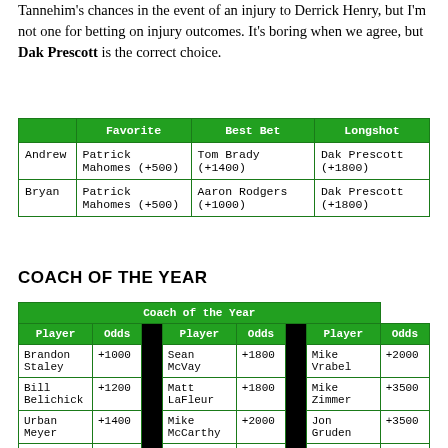Tannehim's chances in the event of an injury to Derrick Henry, but I'm not one for betting on injury outcomes. It's boring when we agree, but Dak Prescott is the correct choice.
|  | Favorite | Best Bet | Longshot |
| --- | --- | --- | --- |
| Andrew | Patrick Mahomes (+500) | Tom Brady (+1400) | Dak Prescott (+1800) |
| Bryan | Patrick Mahomes (+500) | Aaron Rodgers (+1000) | Dak Prescott (+1800) |
COACH OF THE YEAR
| Player | Odds | Player | Odds | Player | Odds |
| --- | --- | --- | --- | --- | --- |
| Brandon Staley | +1000 | Sean McVay | +1800 | Mike Vrabel | +2000 |
| Bill Belichick | +1200 | Matt LaFleur | +1800 | Mike Zimmer | +3500 |
| Urban Meyer | +1400 | Mike McCarthy | +2000 | Jon Gruden | +3500 |
| Arthur Smith | +1400 | Robert Saleh | +2000 | John Harbaugh | +3500 |